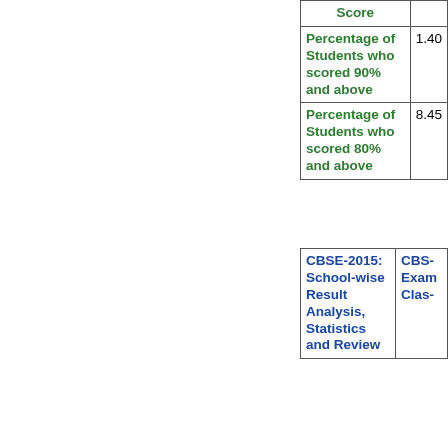| Score | (value) |
| --- | --- |
| Percentage of Students who scored 90% and above | 1.40 |
| Percentage of Students who scored 80% and above | 8.45 |
| CBSE-2015: School-wise Result Analysis, Statistics and Review | CBSE Exam Class... |
| --- | --- |